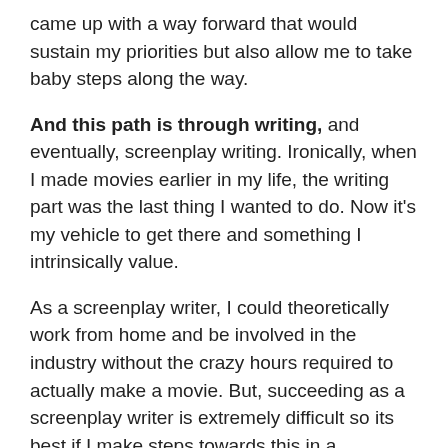came up with a way forward that would sustain my priorities but also allow me to take baby steps along the way.
And this path is through writing, and eventually, screenplay writing. Ironically, when I made movies earlier in my life, the writing part was the last thing I wanted to do. Now it's my vehicle to get there and something I intrinsically value.
As a screenplay writer, I could theoretically work from home and be involved in the industry without the crazy hours required to actually make a movie. But, succeeding as a screenplay writer is extremely difficult so its best if I make steps towards this in a financially sustainable way. This would empower me to pursue the craft but not be trapped into needing it to live.